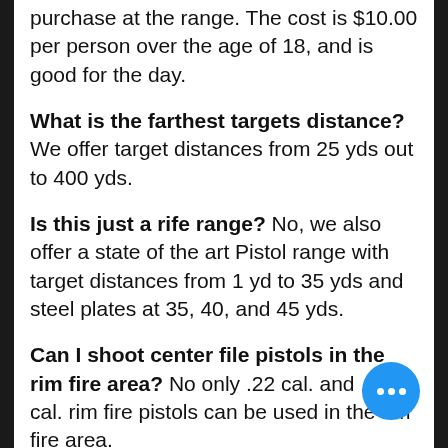purchase at the range. The cost is $10.00 per person over the age of 18, and is good for the day.
What is the farthest targets distance? We offer target distances from 25 yds out to 400 yds.
Is this just a rife range? No, we also offer a state of the art Pistol range with target distances from 1 yd to 35 yds and steel plates at 35, 40, and 45 yds.
Can I shoot center file pistols in the rim fire area? No only .22 cal. and .17 cal. rim fire pistols can be used in the rim fire area.
Can I shoot shot guns on this range? No shotguns